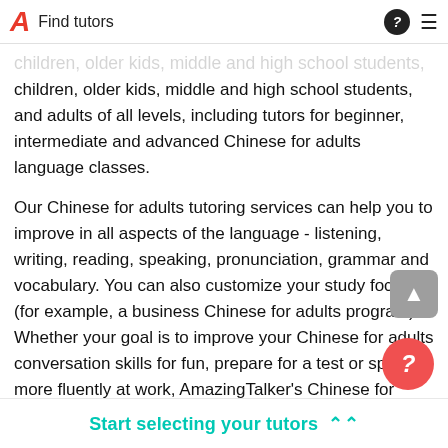Find tutors
children, older kids, middle and high school students, and adults of all levels, including tutors for beginner, intermediate and advanced Chinese for adults language classes.
Our Chinese for adults tutoring services can help you to improve in all aspects of the language - listening, writing, reading, speaking, pronunciation, grammar and vocabulary. You can also customize your study focus (for example, a business Chinese for adults program). Whether your goal is to improve your Chinese for adults conversation skills for fun, prepare for a test or speak more fluently at work, AmazingTalker's Chinese for adults tutors are here to help.
Start selecting your tutors